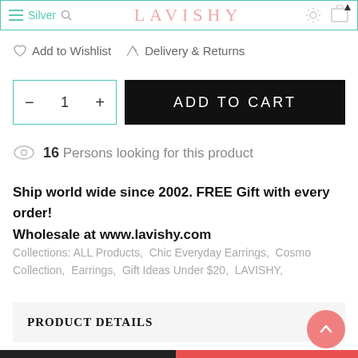Silver | LAVISHY
Add to Wishlist   Delivery & Returns
— 1 +   ADD TO CART
16 Persons looking for this product
Ship world wide since 2002. FREE Gift with every order! Wholesale at www.lavishy.com
Collections: ALL Products, Chic Everyday Earrings, Cosmo Collection, Earrings, Gift Ideas Under $20, LAVISHY,
PRODUCT DETAILS
From Cosmo collection designed by LAVISHY, these silver or